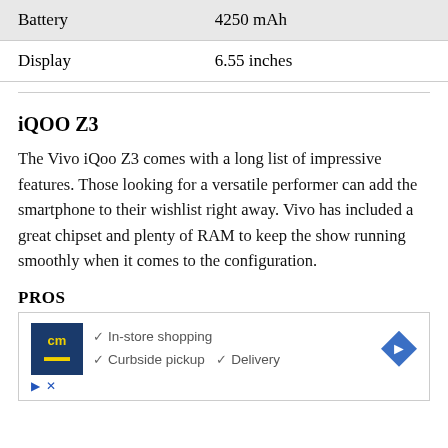|  |  |
| --- | --- |
| Battery | 4250 mAh |
| Display | 6.55 inches |
iQOO Z3
The Vivo iQoo Z3 comes with a long list of impressive features. Those looking for a versatile performer can add the smartphone to their wishlist right away. Vivo has included a great chipset and plenty of RAM to keep the show running smoothly when it comes to the configuration.
PROS
[Figure (other): Advertisement banner with cm logo showing In-store shopping, Curbside pickup, and Delivery options with a blue diamond arrow icon]